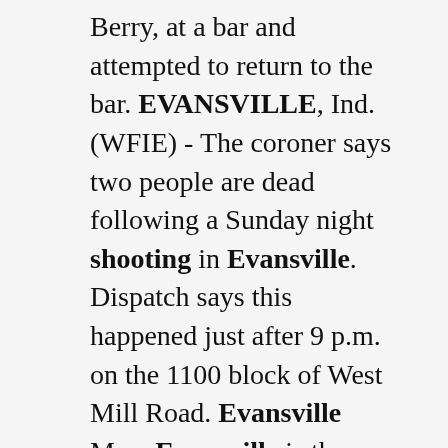Berry, at a bar and attempted to return to the bar. EVANSVILLE, Ind. (WFIE) - The coroner says two people are dead following a Sunday night shooting in Evansville. Dispatch says this happened just after 9 p.m. on the 1100 block of West Mill Road. Evansville Map. Evansville is the third-largest city in the U.S. state of Indiana and the largest city in Southern Indiana. As of the 2010 census, the city had a total population of 117,429. It is the county seat of Vanderburgh County and the regional hub for both Southwestern Indiana and the Illinois-Indiana-Kentucky Tri-State Area. In 2008 a population estimate put the Evansville. Updated: Aug. 3, 2022 at 8:00 PM PDT. Authorities investigating deadly shooting on Evansville's south side. Feb 6, 2022 Updated Feb 7, 2022 0 Marisa Patwa The Evansville Police Department is responding to a shots fired fired call